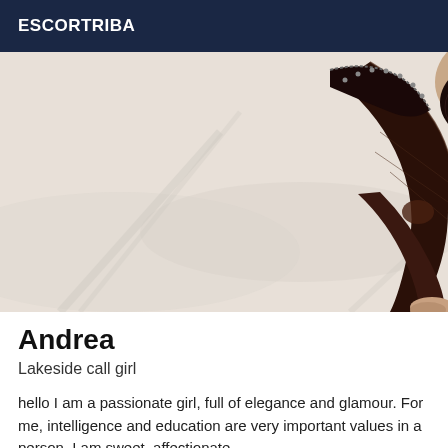ESCORTRIBA
[Figure (photo): A person lying on a white bed wearing black fishnet stockings and a black bodysuit, legs extended diagonally across the frame.]
Andrea
Lakeside call girl
hello I am a passionate girl, full of elegance and glamour. For me, intelligence and education are very important values in a person. I am sweet, affectionate